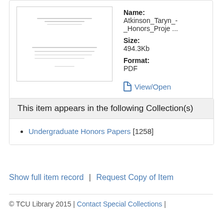[Figure (screenshot): Thumbnail preview of a PDF document showing faint lines of text]
Name: Atkinson_Taryn_-_Honors_Proje ... Size: 494.3Kb Format: PDF
View/Open
This item appears in the following Collection(s)
Undergraduate Honors Papers [1258]
Show full item record | Request Copy of Item
© TCU Library 2015 | Contact Special Collections |